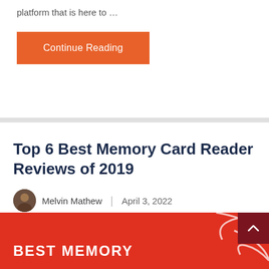platform that is here to …
Continue Reading
Top 6 Best Memory Card Reader Reviews of 2019
Melvin Mathew | April 3, 2022
[Figure (photo): Red promotional banner with 'BEST MEMORY' text, decorative white curved lines, and a dark red scroll-to-top button]